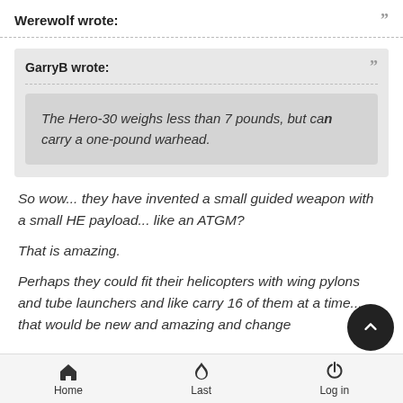Werewolf wrote:
GarryB wrote:
The Hero-30 weighs less than 7 pounds, but can carry a one-pound warhead.
So wow... they have invented a small guided weapon with a small HE payload... like an ATGM?

That is amazing.

Perhaps they could fit their helicopters with wing pylons and tube launchers and like carry 16 of them at a time... that would be new and amazing and change
Home   Last   Log in